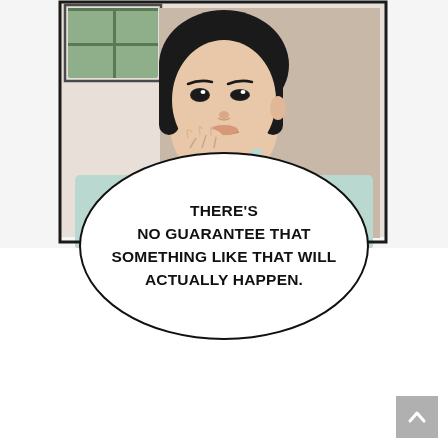[Figure (illustration): Manga/manhwa panel showing a close-up of a character with dark hair, wearing a light blue/mint shirt and dark collar shirt underneath, hand raised to chin in a thinking/pondering pose. Background shows a window with greenery visible outside.]
THERE'S NO GUARANTEE THAT SOMETHING LIKE THAT WILL ACTUALLY HAPPEN.